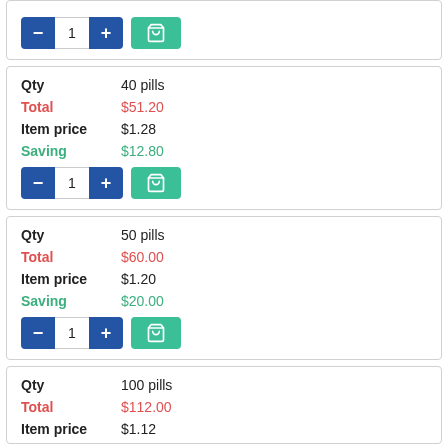[Figure (screenshot): Partial product card showing quantity controls (minus, 1, plus) and a teal cart button at the top of the page.]
| Label | Value |
| --- | --- |
| Qty | 40 pills |
| Total | $51.20 |
| Item price | $1.28 |
| Saving | $12.80 |
| Label | Value |
| --- | --- |
| Qty | 50 pills |
| Total | $60.00 |
| Item price | $1.20 |
| Saving | $20.00 |
| Label | Value |
| --- | --- |
| Qty | 100 pills |
| Total | $112.00 |
| Item price | $1.12 |